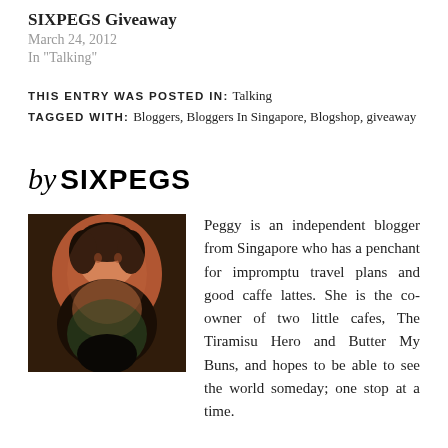SIXPEGS Giveaway
March 24, 2012
In "Talking"
THIS ENTRY WAS POSTED IN: Talking
TAGGED WITH: Bloggers, Bloggers In Singapore, Blogshop, giveaway
by SIXPEGS
[Figure (photo): Author photo of Peggy, a woman from Singapore, blogger]
Peggy is an independent blogger from Singapore who has a penchant for impromptu travel plans and good caffe lattes. She is the co-owner of two little cafes, The Tiramisu Hero and Butter My Buns, and hopes to be able to see the world someday; one stop at a time.